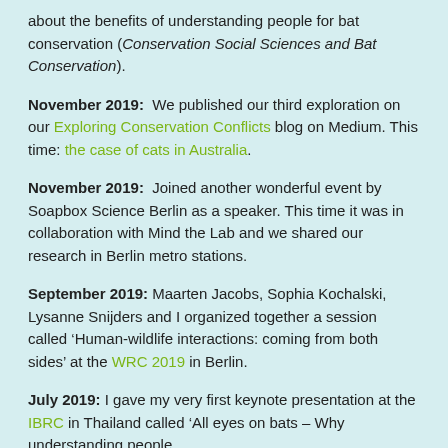about the benefits of understanding people for bat conservation (Conservation Social Sciences and Bat Conservation).
November 2019: We published our third exploration on our Exploring Conservation Conflicts blog on Medium. This time: the case of cats in Australia.
November 2019: Joined another wonderful event by Soapbox Science Berlin as a speaker. This time it was in collaboration with Mind the Lab and we shared our research in Berlin metro stations.
September 2019: Maarten Jacobs, Sophia Kochalski, Lysanne Snijders and I organized together a session called ‘Human-wildlife interactions: coming from both sides’ at the WRC 2019 in Berlin.
July 2019: I gave my very first keynote presentation at the IBRC in Thailand called ‘All eyes on bats – Why understanding people